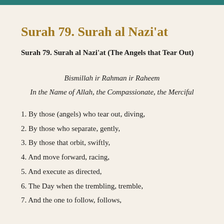Surah 79. Surah al Nazi'at
Surah 79. Surah al Nazi'at (The Angels that Tear Out)
Bismillah ir Rahman ir Raheem
In the Name of Allah, the Compassionate, the Merciful
1. By those (angels) who tear out, diving,
2. By those who separate, gently,
3. By those that orbit, swiftly,
4. And move forward, racing,
5. And execute as directed,
6. The Day when the trembling, tremble,
7. And the one to follow, follows,